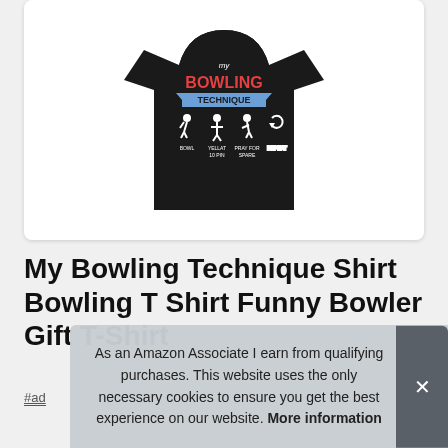[Figure (photo): Black t-shirt with 'My Bowling Technique' design showing icons for BOWL, YELLAT 10 PIN, PRAY FOR SPARE, REPEAT steps]
My Bowling Technique Shirt Bowling T Shirt Funny Bowler Gift T-Shirt
#ad
As an Amazon Associate I earn from qualifying purchases. This website uses the only necessary cookies to ensure you get the best experience on our website. More information